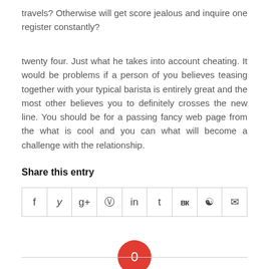travels? Otherwise will get score jealous and inquire one register constantly?
twenty four. Just what he takes into account cheating. It would be problems if a person of you believes teasing together with your typical barista is entirely great and the most other believes you to definitely crosses the new line. You should be for a passing fancy web page from the what is cool and you can what will become a challenge with the relationship.
Share this entry
[Figure (other): Social share icons row: Facebook, Twitter, Google+, Pinterest, LinkedIn, Tumblr, VK, Reddit, Email]
[Figure (other): Red circle badge with number 0]